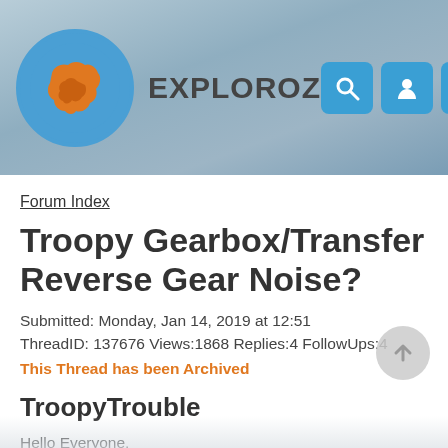[Figure (logo): ExploreOz website header with circular logo showing Australia map in orange on blue background, site name EXPLOROZ, and three navigation buttons (search, profile, menu)]
Forum Index
Troopy Gearbox/Transfer Reverse Gear Noise?
Submitted: Monday, Jan 14, 2019 at 12:51
ThreadID: 137676 Views:1868 Replies:4 FollowUps:4
This Thread has been Archived
TroopyTrouble
Hello Everyone,
I posted this on LCOOL but there seems to be a lot of knowledge here too.